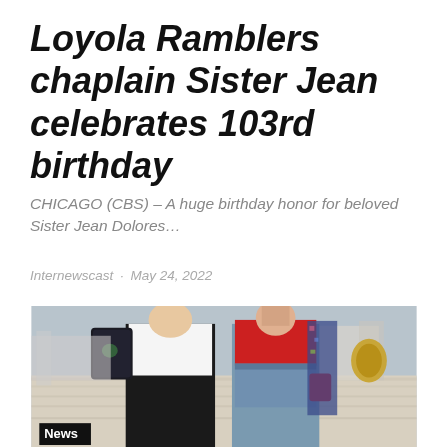Loyola Ramblers chaplain Sister Jean celebrates 103rd birthday
CHICAGO (CBS) – A huge birthday honor for beloved Sister Jean Dolores…
Internewscast · May 24, 2022
[Figure (photo): Two people standing at a marina/dock. Left person wears white t-shirt and black shorts with black backpack. Right person wears red bodysuit and denim shorts with red bag and floral jacket. Boats and yellow rope visible in background. 'News' label tag in bottom-left corner.]